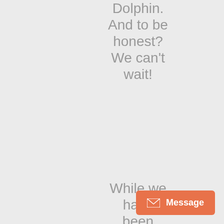Dolphin. And to be honest? We can't wait!
While we have been catching a few fish of various species, it certainly
[Figure (other): Orange message button with envelope icon in bottom-right corner]